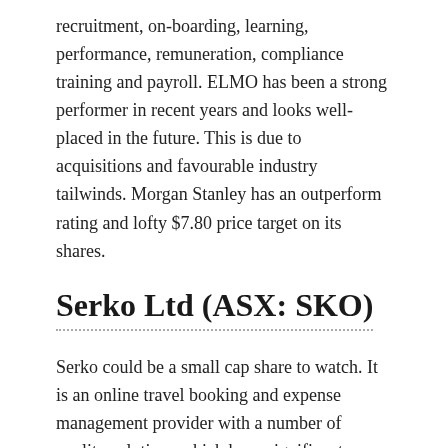recruitment, on-boarding, learning, performance, remuneration, compliance training and payroll. ELMO has been a strong performer in recent years and looks well-placed in the future. This is due to acquisitions and favourable industry tailwinds. Morgan Stanley has an outperform rating and lofty $7.80 price target on its shares.
Serko Ltd (ASX: SKO)
Serko could be a small cap share to watch. It is an online travel booking and expense management provider with a number of quality solutions which have significant market opportunities. Another positive is that it recently signed a deal with travel booking giant Booking.com. This has the potential to be a game-changer over the coming years. Out Miner U t b t d ti d $9.10